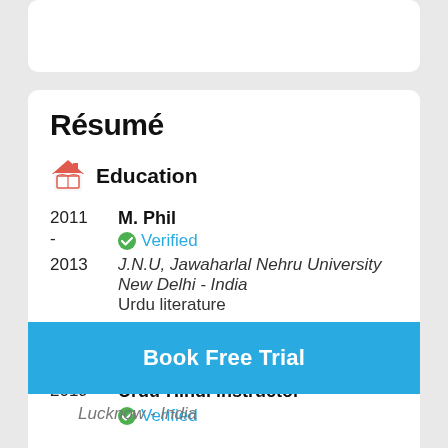Résumé
Education
2011 - 2013
M. Phil
Verified
J.N.U, Jawaharlal Nehru University
New Delhi - India
Urdu literature
Work Experience
2019
Urdu-Hindi instructor
Verified
Book Free Trial
Lucknow - India